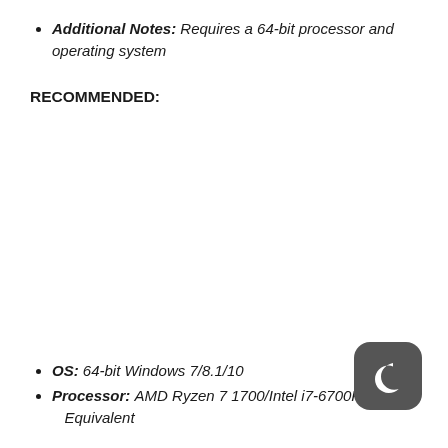Additional Notes: Requires a 64-bit processor and operating system
RECOMMENDED:
OS: 64-bit Windows 7/8.1/10
Processor: AMD Ryzen 7 1700/Intel i7-6700K or Equivalent